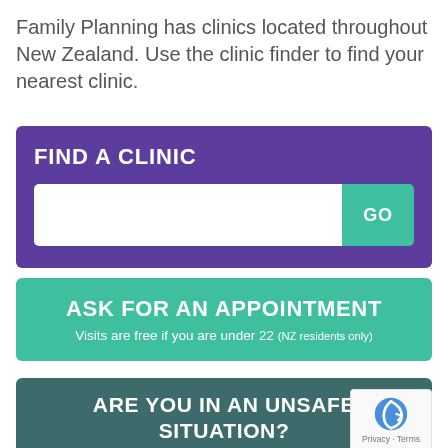Family Planning has clinics located throughout New Zealand. Use the clinic finder to find your nearest clinic.
[Figure (screenshot): Purple 'FIND A CLINIC' search box with a white text input field and a teal 'GO' button]
[Figure (screenshot): Teal 'ASK FOR AN APPOINTMENT' button with subtitle 'Visits are free if you are under 22 (NZ residents only)']
[Figure (screenshot): Dark teal 'ARE YOU IN AN UNSAFE SITUATION?' section partially visible at bottom]